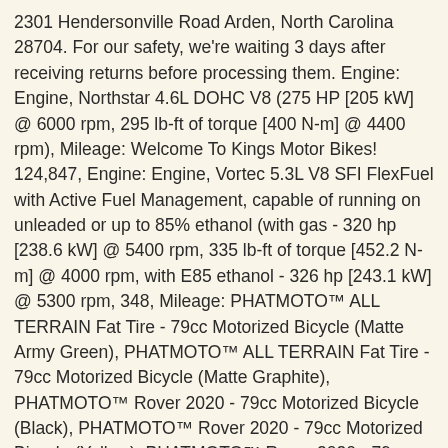2301 Hendersonville Road Arden, North Carolina 28704. For our safety, we're waiting 3 days after receiving returns before processing them. Engine: Engine, Northstar 4.6L DOHC V8 (275 HP [205 kW] @ 6000 rpm, 295 lb-ft of torque [400 N-m] @ 4400 rpm), Mileage: Welcome To Kings Motor Bikes! 124,847, Engine: Engine, Vortec 5.3L V8 SFI FlexFuel with Active Fuel Management, capable of running on unleaded or up to 85% ethanol (with gas - 320 hp [238.6 kW] @ 5400 rpm, 335 lb-ft of torque [452.2 N-m] @ 4000 rpm, with E85 ethanol - 326 hp [243.1 kW] @ 5300 rpm, 348, Mileage: PHATMOTO™ ALL TERRAIN Fat Tire - 79cc Motorized Bicycle (Matte Army Green), PHATMOTO™ ALL TERRAIN Fat Tire - 79cc Motorized Bicycle (Matte Graphite), PHATMOTO™ Rover 2020 - 79cc Motorized Bicycle (Black), PHATMOTO™ Rover 2020 - 79cc Motorized Bicycle (Yellow), PHATMOTO™ Rover 2020 - 79cc Motorized Bicycle (Red), PHATMOTO™ Rover 2020 - 79cc Motorized Bicycle (Matte Black), 79cc Monster 90 Bike Engine Kit - Complete 4-Stroke Kit, Raw Racer II 80cc/100cc Bicycle Engine Kit, Ghost Racer